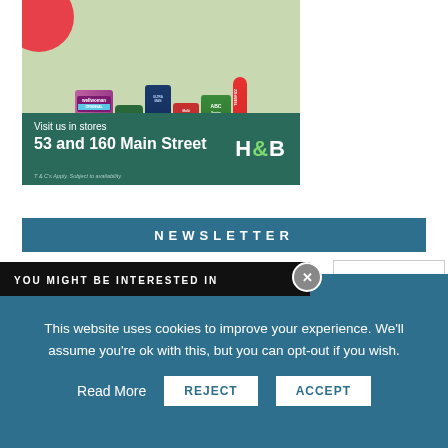[Figure (photo): Holland & Barrett advertisement banner showing vitamin products (Wellwoman Original, H&B branded bottles, ABC Senior vitamins, TeenFizz) on a sage green background with a red circle accent. Green bar at bottom reads 'Visit us in stores 53 and 160 Main Street' with H&B logo.]
NEWSLETTER
YOU MIGHT BE INTERESTED IN
This website uses cookies to improve your experience. We'll assume you're ok with this, but you can opt-out if you wish.
Read More
REJECT
ACCEPT